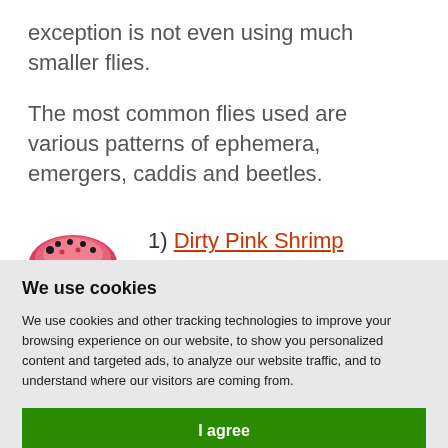exception is not even using much smaller flies.
The most common flies used are various patterns of ephemera, emergers, caddis and beetles.
1) Dirty Pink Shrimp
We use cookies
We use cookies and other tracking technologies to improve your browsing experience on our website, to show you personalized content and targeted ads, to analyze our website traffic, and to understand where our visitors are coming from.
I agree